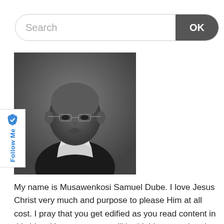[Figure (other): Search bar UI element with text input and OK button]
[Figure (photo): Black and white portrait photo of Musawenkosi Samuel Dube, a man wearing glasses and a dark shirt with white collar]
My name is Musawenkosi Samuel Dube. I love Jesus Christ very much and purpose to please Him at all cost. I pray that you get edified as you read content in this blog. Your comments will be highly appreciated.